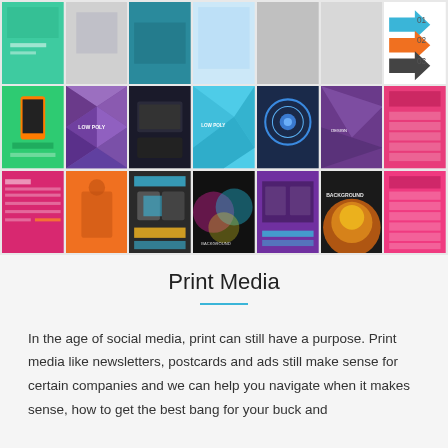[Figure (illustration): A grid of colorful print media design thumbnails — posters, infographics, and flyers arranged in three rows of seven columns each, showing various templates with vibrant colors including green, purple, teal, orange, pink, and dark backgrounds.]
Print Media
In the age of social media, print can still have a purpose. Print media like newsletters, postcards and ads still make sense for certain companies and we can help you navigate when it makes sense, how to get the best bang for your buck and